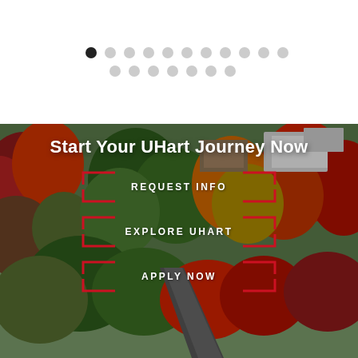[Figure (other): Dot pagination indicator: one filled black dot followed by multiple light gray dots arranged in two rows]
[Figure (photo): Aerial autumn campus photo of University of Hartford showing colorful fall foliage (red, orange, green trees) with campus buildings and a walkway visible]
Start Your UHart Journey Now
REQUEST INFO
EXPLORE UHART
APPLY NOW